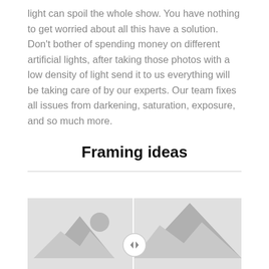light can spoil the whole show. You have nothing to get worried about all this have a solution. Don't bother of spending money on different artificial lights, after taking those photos with a low density of light send it to us everything will be taking care of by our experts. Our team fixes all issues from darkening, saturation, exposure, and so much more.
Framing ideas
[Figure (illustration): Two image placeholders side by side with a circular navigation arrow button overlaid at the center boundary between them. Each placeholder shows a generic grey mountain/landscape icon.]